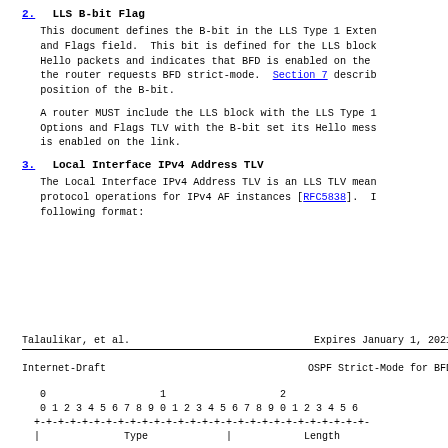2.  LLS B-bit Flag
This document defines the B-bit in the LLS Type 1 Extended Options and Flags field.  This bit is defined for the LLS block in Hello packets and indicates that BFD is enabled on the link or the router requests BFD strict-mode.  Section 7 describes the position of the B-bit.
A router MUST include the LLS block with the LLS Type 1 Extended Options and Flags TLV with the B-bit set its Hello messages if BFD is enabled on the link.
3.  Local Interface IPv4 Address TLV
The Local Interface IPv4 Address TLV is an LLS TLV meant to support protocol operations for IPv4 AF instances [RFC5838].  It has the following format:
Talaulikar, et al.        Expires January 1, 2021
Internet-Draft              OSPF Strict-Mode for BFD
[Figure (schematic): Bit diagram showing fields 0, 1, 2 with bit positions 0-9 repeated, with +-+-+- border and Type and Length labels]